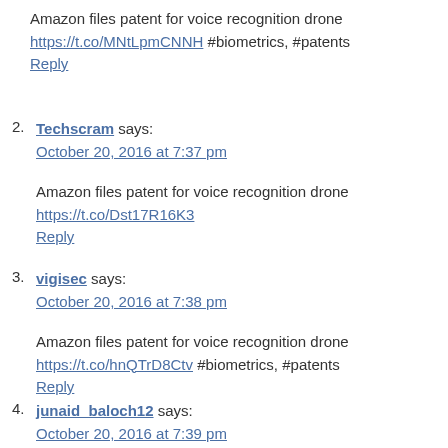Amazon files patent for voice recognition drone https://t.co/MNtLpmCNNH #biometrics, #patents Reply
2. Techscram says: October 20, 2016 at 7:37 pm
Amazon files patent for voice recognition drone https://t.co/Dst17R16K3 Reply
3. vigisec says: October 20, 2016 at 7:38 pm
Amazon files patent for voice recognition drone https://t.co/hnQTrD8Ctv #biometrics, #patents Reply
4. junaid_baloch12 says: October 20, 2016 at 7:39 pm